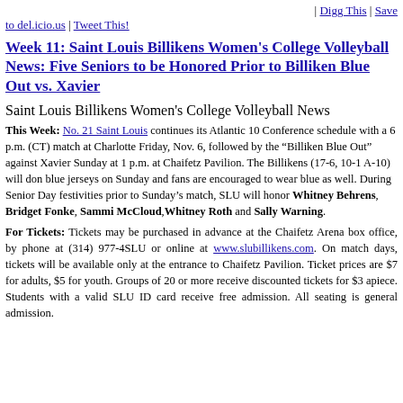| Digg This | Save to del.icio.us | Tweet This!
Week 11: Saint Louis Billikens Women's College Volleyball News: Five Seniors to be Honored Prior to Billiken Blue Out vs. Xavier
Saint Louis Billikens Women's College Volleyball News
This Week: No. 21 Saint Louis continues its Atlantic 10 Conference schedule with a 6 p.m. (CT) match at Charlotte Friday, Nov. 6, followed by the “Billiken Blue Out” against Xavier Sunday at 1 p.m. at Chaifetz Pavilion. The Billikens (17-6, 10-1 A-10) will don blue jerseys on Sunday and fans are encouraged to wear blue as well. During Senior Day festivities prior to Sunday’s match, SLU will honor Whitney Behrens, Bridget Fonke, Sammi McCloud, Whitney Roth and Sally Warning.
For Tickets: Tickets may be purchased in advance at the Chaifetz Arena box office, by phone at (314) 977-4SLU or online at www.slubillikens.com. On match days, tickets will be available only at the entrance to Chaifetz Pavilion. Ticket prices are $7 for adults, $5 for youth. Groups of 20 or more receive discounted tickets for $3 apiece. Students with a valid SLU ID card receive free admission. All seating is general admission.